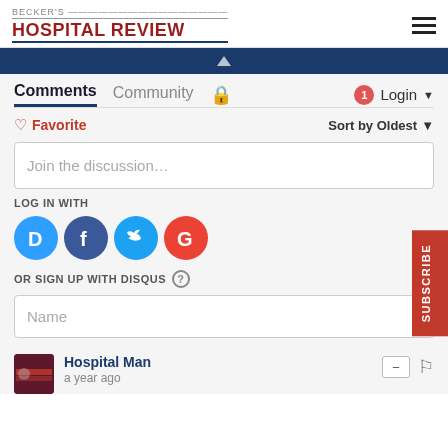BECKER'S HOSPITAL REVIEW
[Figure (screenshot): Blue navigation banner]
Comments
Community | Login
Favorite | Sort by Oldest
Join the discussion…
LOG IN WITH
[Figure (logo): Social login icons: Disqus, Facebook, Twitter, Google]
OR SIGN UP WITH DISQUS ?
Name
Hospital Man
a year ago